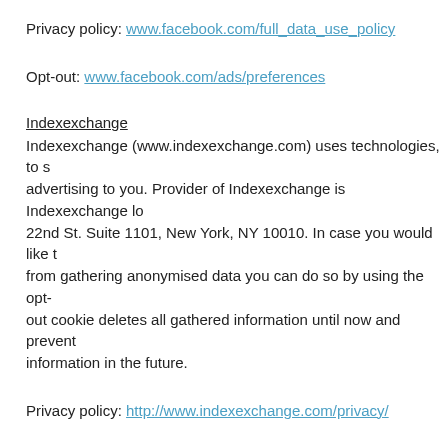Privacy policy: www.facebook.com/full_data_use_policy
Opt-out: www.facebook.com/ads/preferences
Indexexchange
Indexexchange (www.indexexchange.com) uses technologies, to show advertising to you. Provider of Indexexchange is Indexexchange located at 22nd St. Suite 1101, New York, NY 10010. In case you would like to prevent from gathering anonymised data you can do so by using the opt-out cookie deletes all gathered information until now and prevents gathering information in the future.
Privacy policy: http://www.indexexchange.com/privacy/
Opt-out: http://optout.networkadvertising.org/?c=1#!/
Media.net
Media.net (http://www.media.net/privacy-policy) uses technologies, advertising to you. Provider of Media.net is Media.net Advertisin...